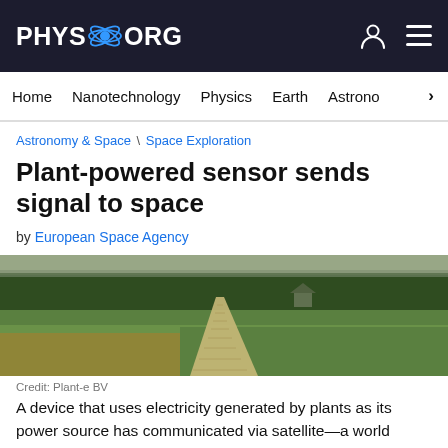PHYS.ORG
Home  Nanotechnology  Physics  Earth  Astrono...
Astronomy & Space \ Space Exploration
Plant-powered sensor sends signal to space
by European Space Agency
[Figure (photo): Aerial view of a grassy wetland area with a wooden boardwalk path, trees in the background, and a small structure visible.]
Credit: Plant-e BV
A device that uses electricity generated by plants as its power source has communicated via satellite—a world